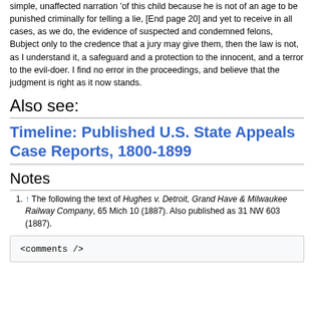simple, unaffected narration 'of this child because he is not of an age to be punished criminally for telling a lie, [End page 20] and yet to receive in all cases, as we do, the evidence of suspected and condemned felons, Bubject only to the credence that a jury may give them, then the law is not, as I understand it, a safeguard and a protection to the innocent, and a terror to the evil-doer. I find no error in the proceedings, and believe that the judgment is right as it now stands.
Also see:
Timeline: Published U.S. State Appeals Case Reports, 1800-1899
Notes
↑ The following the text of Hughes v. Detroit, Grand Have & Milwaukee Railway Company, 65 Mich 10 (1887). Also published as 31 NW 603 (1887).
<comments />